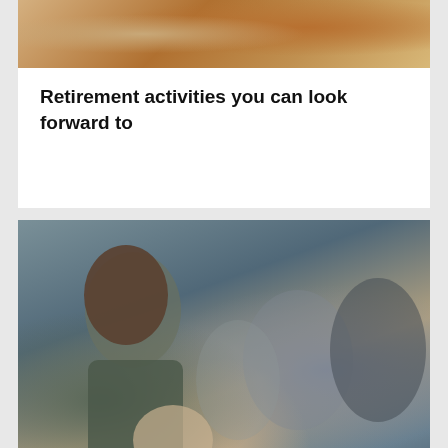[Figure (photo): Close-up photo showing hands/arms of people, one in a yellow/orange top, in what appears to be an office or meeting setting — top portion of image only visible.]
Retirement activities you can look forward to
[Figure (photo): A young girl holding a teddy bear looking downward, with a blurred background showing adults seated at a table in dispute — likely a custody or divorce legal consultation scene.]
Family law – separation and divorce in Australia